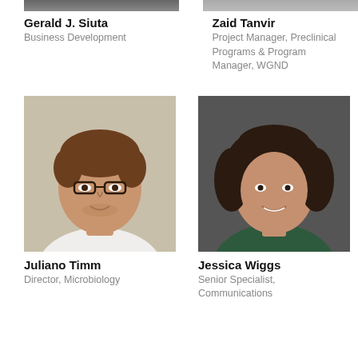[Figure (photo): Partial photo of Gerald J. Siuta (cropped at top)]
[Figure (photo): Partial photo of Zaid Tanvir (cropped at top)]
Gerald J. Siuta
Business Development
Zaid Tanvir
Project Manager, Preclinical Programs & Program Manager, WGND
[Figure (photo): Portrait photo of Juliano Timm, a man with glasses and brown hair wearing a white shirt]
[Figure (photo): Portrait photo of Jessica Wiggs, a woman with curly dark hair wearing a dark green top]
Juliano Timm
Director, Microbiology
Jessica Wiggs
Senior Specialist, Communications